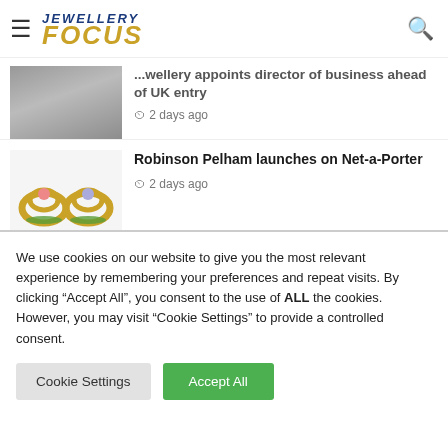[Figure (logo): Jewellery Focus logo with hamburger menu and search icon]
...wellery appoints director of business ahead of UK entry
2 days ago
[Figure (photo): Photo of earrings - Robinson Pelham crescent-shaped gold earrings with floral motifs]
Robinson Pelham launches on Net-a-Porter
2 days ago
[Figure (photo): Photo of hands with jewelry - Amanda Coleman birthstone locket]
Amanda Coleman unveils new birthstone locket
We use cookies on our website to give you the most relevant experience by remembering your preferences and repeat visits. By clicking "Accept All", you consent to the use of ALL the cookies. However, you may visit "Cookie Settings" to provide a controlled consent.